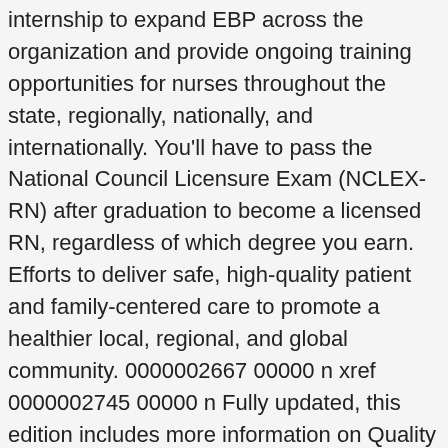internship to expand EBP across the organization and provide ongoing training opportunities for nurses throughout the state, regionally, nationally, and internationally. You'll have to pass the National Council Licensure Exam (NCLEX-RN) after graduation to become a licensed RN, regardless of which degree you earn. Efforts to deliver safe, high-quality patient and family-centered care to promote a healthier local, regional, and global community. 0000002667 00000 n xref 0000002745 00000 n Fully updated, this edition includes more information on Quality and Safety Education for Nurses (QSEN), global health, and nursing ... Spell. One of the most important is that it helps ensure and safeguard the health and well-being of patients. Professional Profiles boxes provide prospective from nurses in the field. Professional Nursing Practice helps nursing students explore and understand the nurse's role in the health care environment with coverage on topics including nursing history, theory, ethics, and law, as well as nursing roles, issues, and changes in the profession. We adhere to the American Nurses Association Code of Ethics for Nurses, the